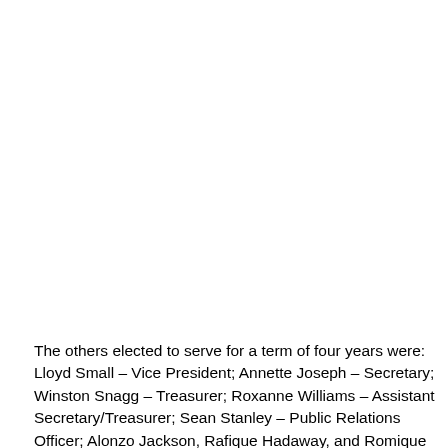The others elected to serve for a term of four years were: Lloyd Small – Vice President; Annette Joseph – Secretary; Winston Snagg – Treasurer; Roxanne Williams – Assistant Secretary/Treasurer; Sean Stanley – Public Relations Officer; Alonzo Jackson, Rafique Hadaway, and Romique Hooper –